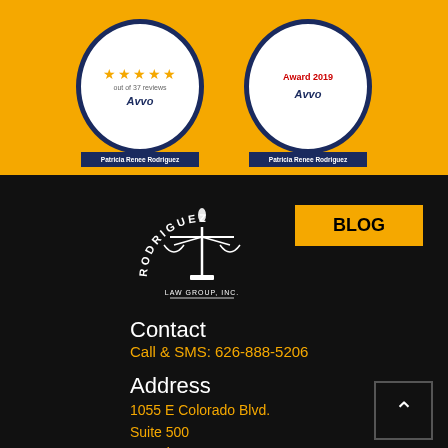[Figure (logo): Avvo 5-star rating badge showing stars and 'out of 37 reviews', Patricia Renee Rodriguez, Avvo branding on yellow background]
[Figure (logo): Avvo Award 2019 badge with Patricia Renee Rodriguez on yellow background]
[Figure (logo): Rodriguez Law Group Inc. logo with scales of justice on black background]
BLOG
Contact
Call & SMS: 626-888-5206
Address
1055 E Colorado Blvd.
Suite 500
Pasadena, CA 91106
Who We Help:
Criminal Defense • Civil Defense • Custody • Di... (CD)